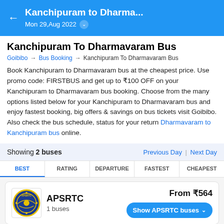Kanchipuram to Dharma... Mon 29,Aug 2022
Kanchipuram To Dharmavaram Bus
Goibibo → Bus Booking → Kanchipuram To Dharmavaram Bus
Book Kanchipuram to Dharmavaram bus at the cheapest price. Use promo code: FIRSTBUS and get up to ₹100 OFF on your Kanchipuram to Dharmavaram bus booking. Choose from the many options listed below for your Kanchipuram to Dharmavaram bus and enjoy fastest booking, big offers & savings on bus tickets visit Goibibo. Also check the bus schedule, status for your return Dharmavaram to Kanchipuram bus online.
Showing 2 buses    Previous Day | Next Day
BEST  RATING  DEPARTURE  FASTEST  CHEAPEST
APSRTC  1 buses  From ₹564  Show APSRTC buses